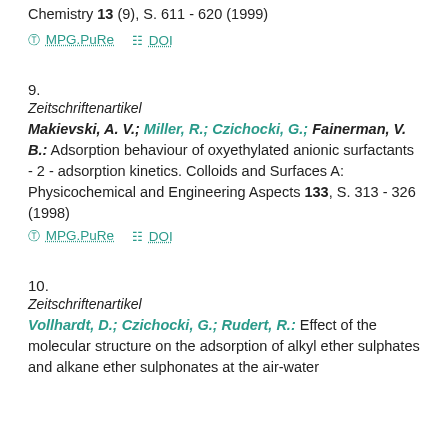Chemistry 13 (9), S. 611 - 620 (1999)
MPG.PuRe   DOI
9.
Zeitschriftenartikel
Makievski, A. V.; Miller, R.; Czichocki, G.; Fainerman, V. B.: Adsorption behaviour of oxyethylated anionic surfactants - 2 - adsorption kinetics. Colloids and Surfaces A: Physicochemical and Engineering Aspects 133, S. 313 - 326 (1998)
MPG.PuRe   DOI
10.
Zeitschriftenartikel
Vollhardt, D.; Czichocki, G.; Rudert, R.: Effect of the molecular structure on the adsorption of alkyl ether sulphates and alkane ether sulphonates at the air-water